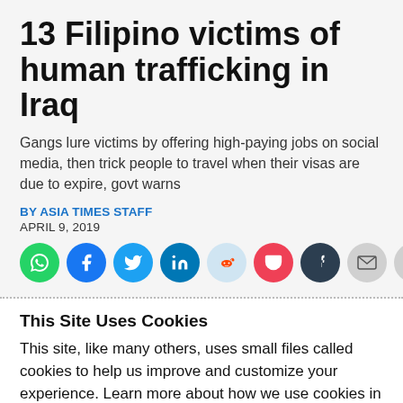13 Filipino victims of human trafficking in Iraq
Gangs lure victims by offering high-paying jobs on social media, then trick people to travel when their visas are due to expire, govt warns
By ASIA TIMES STAFF
APRIL 9, 2019
[Figure (infographic): Row of social share buttons: WhatsApp (green), Facebook (blue), Twitter (blue), LinkedIn (blue), Reddit (light blue), Pocket (red), Tumblr (dark navy), Email (gray), Print (gray)]
This Site Uses Cookies
This site, like many others, uses small files called cookies to help us improve and customize your experience. Learn more about how we use cookies in our cookie policy.
Learn more about cookies    OK